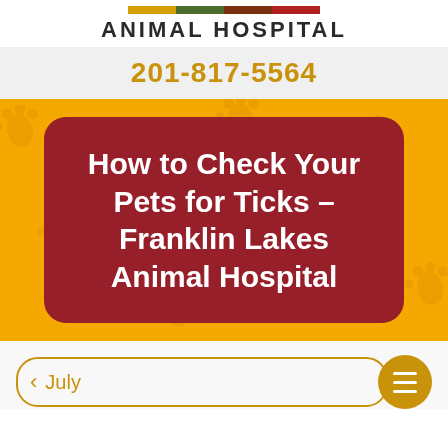[Figure (logo): Franklin Lakes Animal Hospital logo with colored bar and text]
201-817-5564
How to Check Your Pets for Ticks - Franklin Lakes Animal Hospital
July